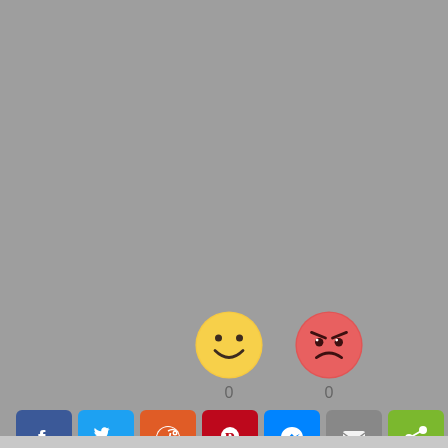[Figure (infographic): Two emoji reaction icons: a yellow smiley face with count 0, and a red angry face with count 0]
[Figure (infographic): Social media share buttons: Facebook (blue), Twitter (light blue), Reddit (orange), Pinterest (dark red), Messenger (blue), Email (gray), Share (green)]
Trends